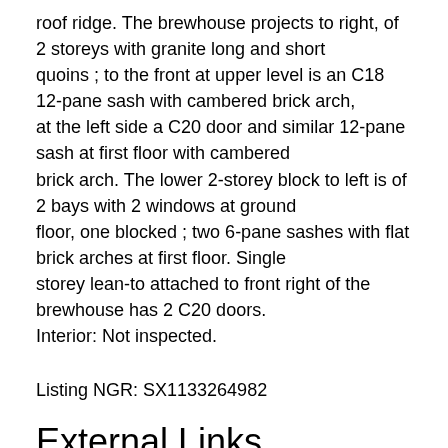roof ridge. The brewhouse projects to right, of 2 storeys with granite long and short quoins ; to the front at upper level is an C18 12-pane sash with cambered brick arch, at the left side a C20 door and similar 12-pane sash at first floor with cambered brick arch. The lower 2-storey block to left is of 2 bays with 2 windows at ground floor, one blocked ; two 6-pane sashes with flat brick arches at first floor. Single storey lean-to attached to front right of the brewhouse has 2 C20 doors. Interior: Not inspected.
Listing NGR: SX1133264982
External Links
Historic England Listing